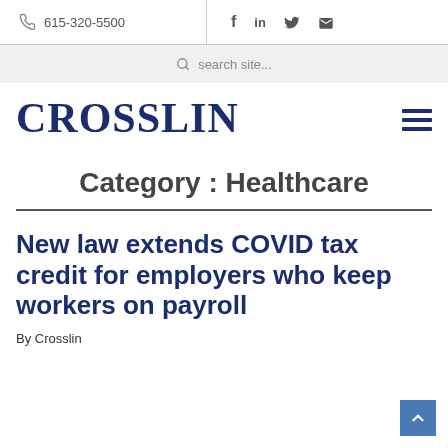615-320-5500
search site...
CROSSLIN
Category : Healthcare
New law extends COVID tax credit for employers who keep workers on payroll
By Crosslin